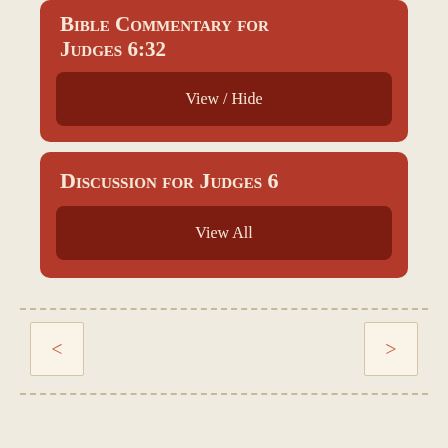Bible Commentary for Judges 6:32
View / Hide
Discussion for Judges 6
View All
[Figure (other): Navigation buttons with left < and right > arrows separated by dashed lines]